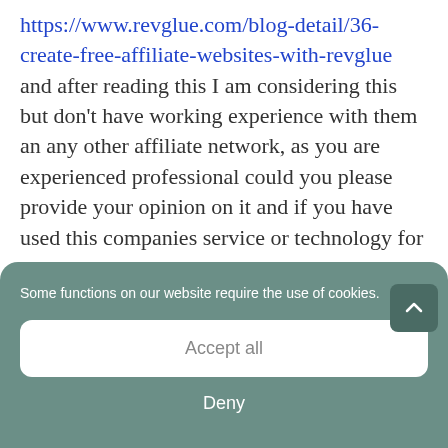https://www.revglue.com/blog-detail/36-create-free-affiliate-websites-with-revglue and after reading this I am considering this but don't have working experience with them an any other affiliate network, as you are experienced professional could you please provide your opinion on it and if you have used this companies service or technology for
Some functions on our website require the use of cookies.
Accept all
Deny